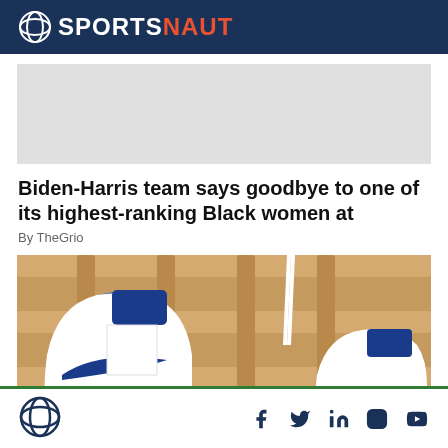SPORTSNAUT
[Figure (other): Gray advertisement banner placeholder]
Biden-Harris team says goodbye to one of its highest-ranking Black women at
By TheGrio
[Figure (photo): Photo of white and blue Nike high-top sneakers resting against a wooden slatted surface]
Sportsnaut logo and social media icons: Facebook, Twitter, LinkedIn, Instagram, YouTube